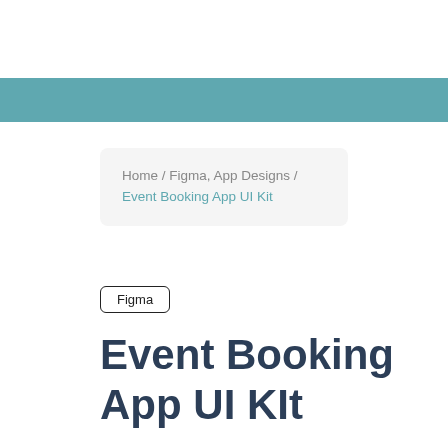[Figure (other): Teal horizontal bar spanning full page width]
Home / Figma, App Designs / Event Booking App UI Kit
Figma
Event Booking App UI Kit